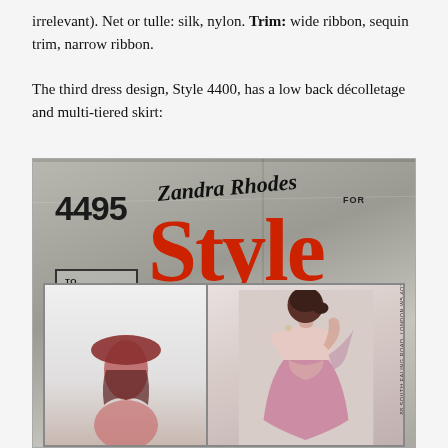irrelevant). Net or tulle: silk, nylon. Trim: wide ribbon, sequin trim, narrow ribbon.
The third dress design, Style 4400, has a low back décolletage and multi-tiered skirt:
[Figure (photo): Photograph of a vintage Zandra Rhodes for Style sewing pattern envelope, number 4495, showing 'TO MISS JEUNE FEMME' size label, large red 'Style' logo, cursive 'Zandra Rhodes' signature, and models wearing an evening dress with low back décolletage.]